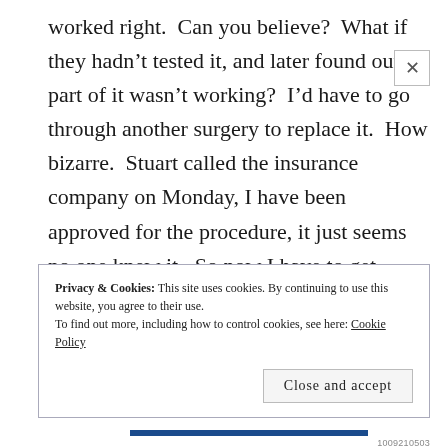worked right.  Can you believe?  What if they hadn't tested it, and later found out part of it wasn't working?  I'd have to go through another surgery to replace it.  How bizarre.  Stuart called the insurance company on Monday, I have been approved for the procedure, it just seems no one knew it.  So now I have to get another appointment with this doctor.....hope it's soon.
Privacy & Cookies: This site uses cookies. By continuing to use this website, you agree to their use. To find out more, including how to control cookies, see here: Cookie Policy
Close and accept